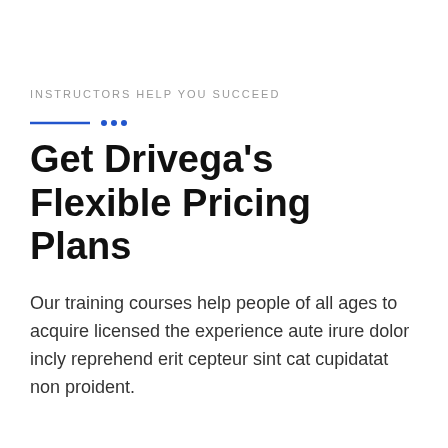INSTRUCTORS HELP YOU SUCCEED
Get Drivega's Flexible Pricing Plans
Our training courses help people of all ages to acquire licensed the experience aute irure dolor incly reprehend erit cepteur sint cat cupidatat non proident.